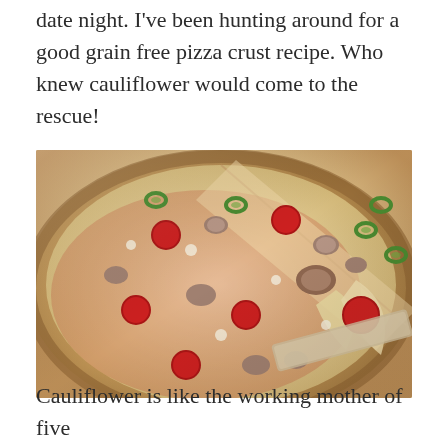date night.  I've been hunting around for a good grain free pizza crust recipe.  Who knew cauliflower would come to the rescue!
[Figure (photo): A cauliflower pizza crust topped with melted cheese, pepperoni, sliced mushrooms, and jalapeño rings, with a slice being lifted showing the stretchy cheese. The crust appears golden-brown and crispy.]
Cauliflower is like the working mother of five